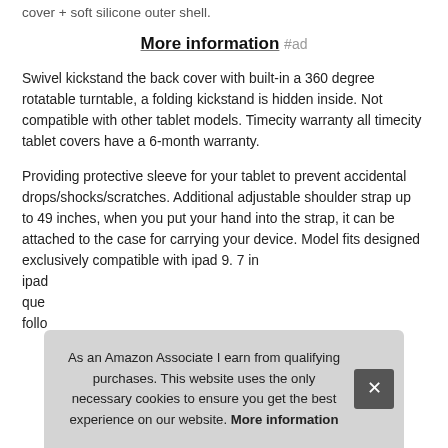cover + soft silicone outer shell.
More information #ad
Swivel kickstand the back cover with built-in a 360 degree rotatable turntable, a folding kickstand is hidden inside. Not compatible with other tablet models. Timecity warranty all timecity tablet covers have a 6-month warranty.
Providing protective sleeve for your tablet to prevent accidental drops/shocks/scratches. Additional adjustable shoulder strap up to 49 inches, when you put your hand into the strap, it can be attached to the case for carrying your device. Model fits designed exclusively compatible with ipad 9. 7 in... ipad... que... follo...
As an Amazon Associate I earn from qualifying purchases. This website uses the only necessary cookies to ensure you get the best experience on our website. More information